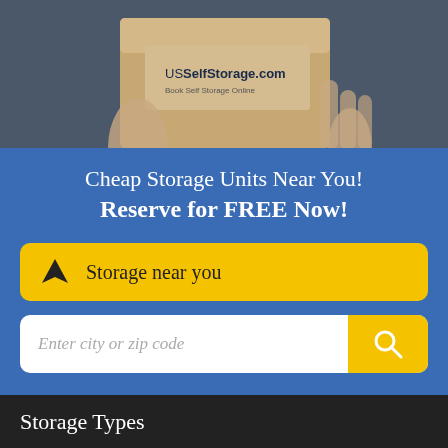[Figure (photo): Person holding a cardboard box labeled USSelfStorage.com, Book Self Storage Online, on a dark blue background]
Cheap Storage Units Near You!
Reserve for FREE Now!
Storage near you
Enter city or zip code
Storage Types
Storage Units Near You
Drive Up Storage
Climate Controlled
Business Storage
Student Storage
Car Storage
Vehicle Storage
Boat Storage
RV Storage
Wine Storage